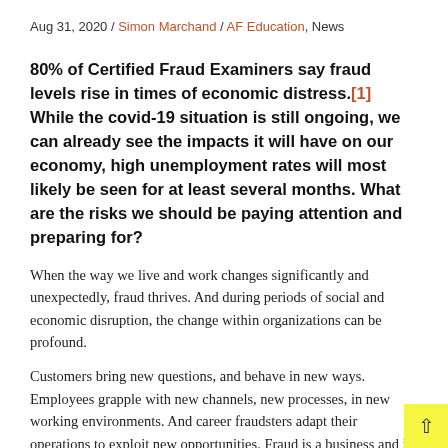Aug 31, 2020 / Simon Marchand / AF Education, News
80% of Certified Fraud Examiners say fraud levels rise in times of economic distress.[1] While the covid-19 situation is still ongoing, we can already see the impacts it will have on our economy, high unemployment rates will most likely be seen for at least several months. What are the risks we should be paying attention and preparing for?
When the way we live and work changes significantly and unexpectedly, fraud thrives. And during periods of social and economic disruption, the change within organizations can be profound.
Customers bring new questions, and behave in new ways. Employees grapple with new channels, new processes, in new working environments. And career fraudsters adapt their operations to exploit new opportunities. Fraud is a business and it must stay profitable.